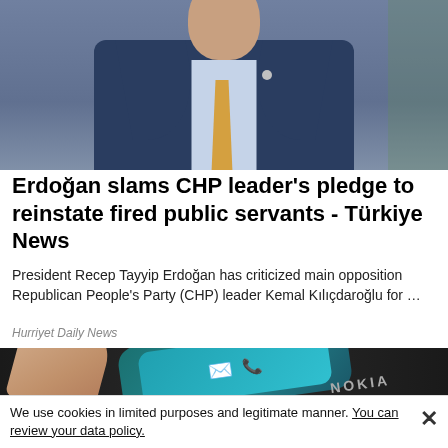[Figure (photo): Photo of a man in a blue suit with a gold/yellow tie, appearing to be a political figure, photographed from the chest up]
Erdoğan slams CHP leader's pledge to reinstate fired public servants - Türkiye News
President Recep Tayyip Erdoğan has criticized main opposition Republican People's Party (CHP) leader Kemal Kılıçdaroğlu for …
Hurriyet Daily News
[Figure (photo): Close-up photo of a Nokia mobile phone being held by a thumb, showing a green envelope icon and red phone icon on the keypad]
We use cookies in limited purposes and legitimate manner. You can review your data policy.